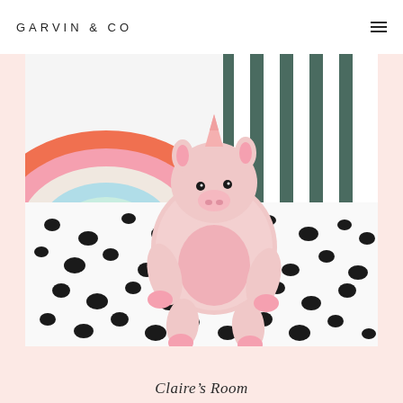GARVIN & CO
[Figure (photo): A pink fluffy stuffed unicorn toy sitting on a black and white dalmatian-spotted fabric, with a colorful rainbow pillow and green striped crib slats in the background.]
Claire’s Room